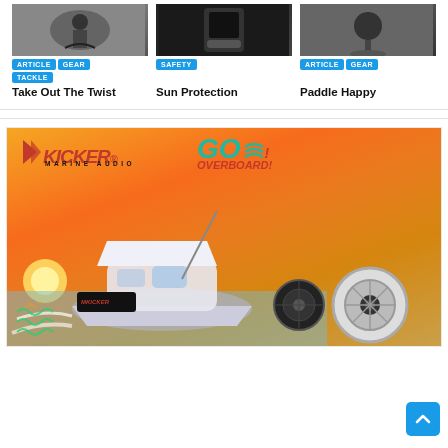[Figure (photo): Three article cards with images and tags. Card 1: image with tags ARTICLE, GEAR, TACKLE. Card 2: image with tag SAFETY. Card 3: image with tags ARTICLE, GEAR.]
Take Out The Twist
Sun Protection
Paddle Happy
[Figure (photo): KICKER Marine Audio advertisement with speedboat on water at sunset, speaker products, and GO OVERBOARD! tagline.]